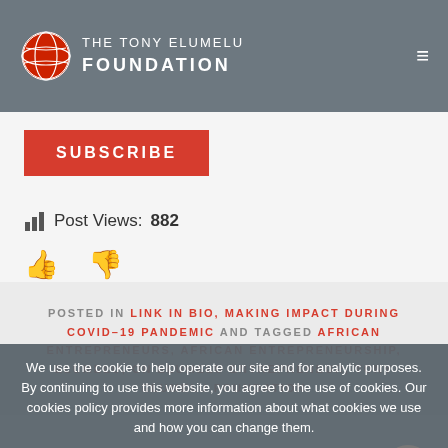The Tony Elumelu Foundation
[Figure (logo): The Tony Elumelu Foundation logo with globe icon]
SUBSCRIBE
Post Views: 882
[Figure (other): Thumbs up and thumbs down red icons]
POSTED IN LINK IN BIO, MAKING IMPACT DURING COVID-19 PANDEMIC AND TAGGED AFRICAN ENTREPRENEURS, AFRICAN ENTREPRENEURSHIP, ELUMELU, ON ELUMELU ENTREPRENEUR, TONY ELUMELU FOUNDATION
We use the cookie to help operate our site and for analytic purposes. By continuing to use this website, you agree to the use of cookies. Our cookies policy provides more information about what cookies we use and how you can change them.